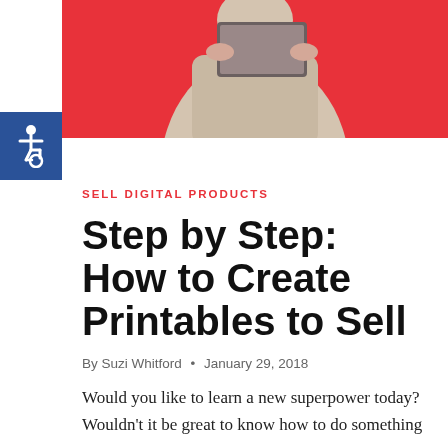[Figure (photo): Person in a light grey sweater holding a tablet/laptop against a bright red background, cropped to show torso only]
[Figure (illustration): Blue square accessibility icon showing wheelchair symbol in white]
SELL DIGITAL PRODUCTS
Step by Step: How to Create Printables to Sell
By Suzi Whitford · January 29, 2018
Would you like to learn a new superpower today? Wouldn't it be great to know how to do something